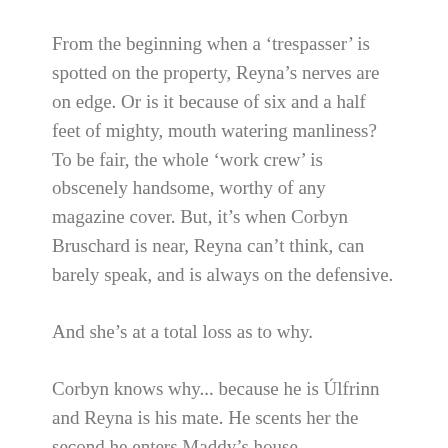From the beginning when a ‘trespasser’ is spotted on the property, Reyna’s nerves are on edge. Or is it because of six and a half feet of mighty, mouth watering manliness? To be fair, the whole ‘work crew’ is obscenely handsome, worthy of any magazine cover. But, it’s when Corbyn Bruschard is near, Reyna can’t think, can barely speak, and is always on the defensive.
And she’s at a total loss as to why.
Corbyn knows why... because he is Úlfrinn and Reyna is his mate. He scents her the second he enters Maddy’s house.
Unlike the usual paranormal romance, the challenge